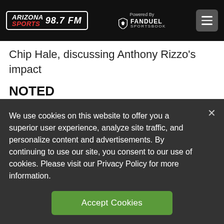Arizona Sports 98.7 FM — Powered By FanDuel Sportsbook
Chip Hale, discussing Anthony Rizzo's impact
NOTED
-New Arizona State head basketball coach Bobby Hurley threw out the ceremonial first
We use cookies on this website to offer you a superior user experience, analyze site traffic, and personalize content and advertisements. By continuing to use our site, you consent to our use of cookies. Please visit our Privacy Policy for more information.
Accept Cookies